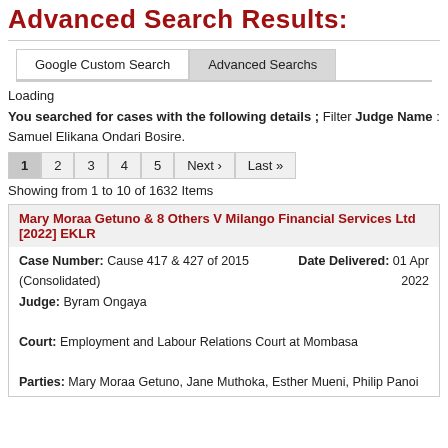Advanced Search Results:
Loading
You searched for cases with the following details ; Filter Judge Name : Samuel Elikana Ondari Bosire.
1 2 3 4 5 Next › Last »
Showing from 1 to 10 of 1632 Items
Mary Moraa Getuno & 8 Others V Milango Financial Services Ltd [2022] EKLR
Case Number: Cause 417 & 427 of 2015 (Consolidated) Date Delivered: 01 Apr 2022 Judge: Byram Ongaya Court: Employment and Labour Relations Court at Mombasa Parties: Mary Moraa Getuno, Jane Muthoka, Esther Mueni, Philip Panoi